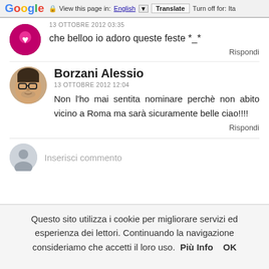Google — View this page in: English ▼ Translate  Turn off for: Ita
13 OTTOBRE 2012 03:35
che belloo io adoro queste feste *_*
Rispondi
Borzani Alessio
13 OTTOBRE 2012 12:04
Non l'ho mai sentita nominare perchè non abito vicino a Roma ma sarà sicuramente belle ciao!!!!
Rispondi
Inserisci commento
Questo sito utilizza i cookie per migliorare servizi ed esperienza dei lettori. Continuando la navigazione consideriamo che accetti il loro uso.  Più Info  OK